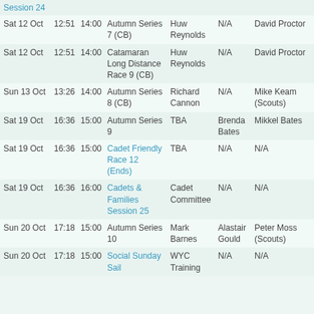| Date | Time1 | Time2 | Event | Person | Extra | Last |
| --- | --- | --- | --- | --- | --- | --- |
|  |  |  | Session 24 |  |  |  |
| Sat 12 Oct | 12:51 | 14:00 | Autumn Series 7 (CB) | Huw Reynolds | N/A | David Proctor |
| Sat 12 Oct | 12:51 | 14:00 | Catamaran Long Distance Race 9 (CB) | Huw Reynolds | N/A | David Proctor |
| Sun 13 Oct | 13:26 | 14:00 | Autumn Series 8 (CB) | Richard Cannon | N/A | Mike Keam (Scouts) |
| Sat 19 Oct | 16:36 | 15:00 | Autumn Series 9 | TBA | Brenda Bates | Mikkel Bates |
| Sat 19 Oct | 16:36 | 15:00 | Cadet Friendly Race 12 (Ends) | TBA | N/A | N/A |
| Sat 19 Oct | 16:36 | 16:00 | Cadets & Families Session 25 | Cadet Committee | N/A | N/A |
| Sun 20 Oct | 17:18 | 15:00 | Autumn Series 10 | Mark Barnes | Alastair Gould | Peter Moss (Scouts) |
| Sun 20 Oct | 17:18 | 15:00 | Social Sunday Sail | WYC Training | N/A | N/A |